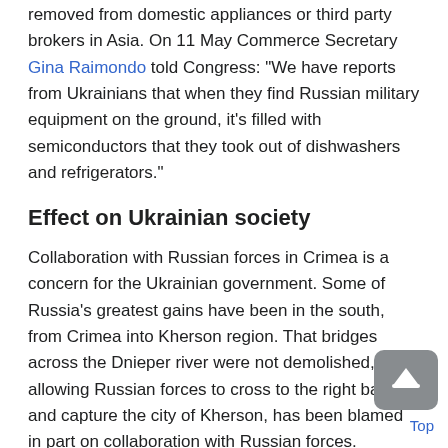removed from domestic appliances or third party brokers in Asia. On 11 May Commerce Secretary Gina Raimondo told Congress: "We have reports from Ukrainians that when they find Russian military equipment on the ground, it's filled with semiconductors that they took out of dishwashers and refrigerators."
Effect on Ukrainian society
Collaboration with Russian forces in Crimea is a concern for the Ukrainian government. Some of Russia's greatest gains have been in the south, from Crimea into Kherson region. That bridges across the Dnieper river were not demolished, allowing Russian forces to cross to the right bank and capture the city of Kherson, has been blamed in part on collaboration with Russian forces. According to Kyiv analyst Volodymyr Fesenko: "It was obvious there was treason in Kherson region." Currently 60 former members of the Security Service of Ukraine (SBU) are working for Russian forces. There are 651 active investigations involving collaboration of collaboration against their region. On 31...